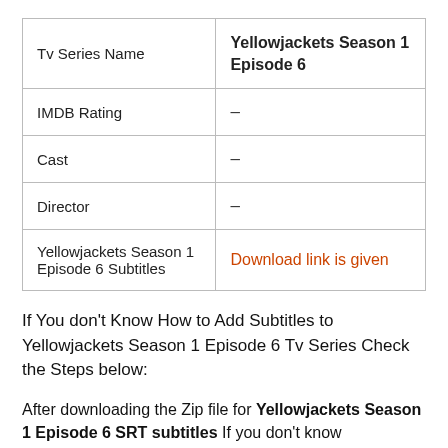| Tv Series Name | Yellowjackets Season 1 Episode 6 |
| IMDB Rating | – |
| Cast | – |
| Director | – |
| Yellowjackets Season 1 Episode 6 Subtitles | Download link is given |
If You don't Know How to Add Subtitles to Yellowjackets Season 1 Episode 6 Tv Series Check the Steps below:
After downloading the Zip file for Yellowjackets Season 1 Episode 6 SRT subtitles If you don't know